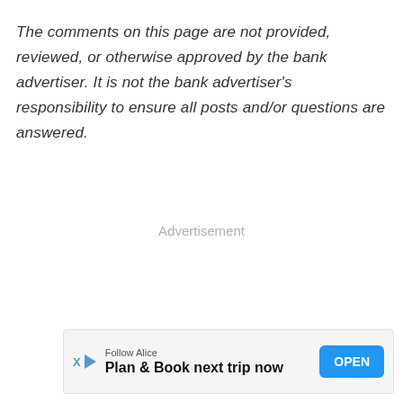The comments on this page are not provided, reviewed, or otherwise approved by the bank advertiser. It is not the bank advertiser's responsibility to ensure all posts and/or questions are answered.
Advertisement
[Figure (other): Advertisement banner for Alice travel app: Follow Alice — Plan & Book next trip now — OPEN button]